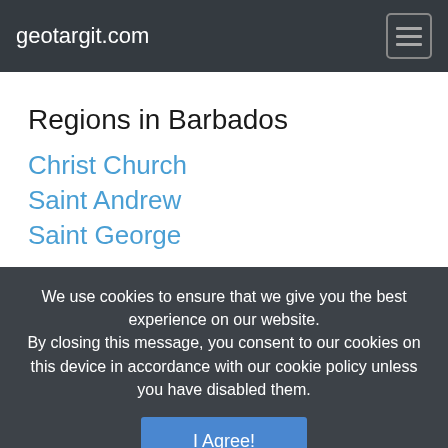geotargit.com
Regions in Barbados
Christ Church
Saint Andrew
Saint George
We use cookies to ensure that we give you the best experience on our website. By closing this message, you consent to our cookies on this device in accordance with our cookie policy unless you have disabled them.
I Agree!